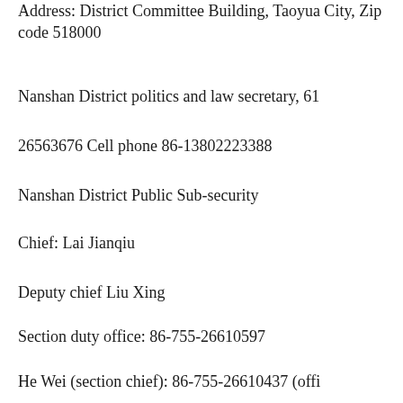Address: District Committee Building, Taoyua City, Zip code 518000
Nanshan District politics and law secretary, 61
26563676 Cell phone 86-13802223388
Nanshan District Public Sub-security
Chief: Lai Jianqiu
Deputy chief Liu Xing
Section duty office: 86-755-26610597
He Wei (section chief): 86-755-26610437 (offi
Section vice chief: 86-755-84466138 (office),
Switchboard: 86-755-26610013